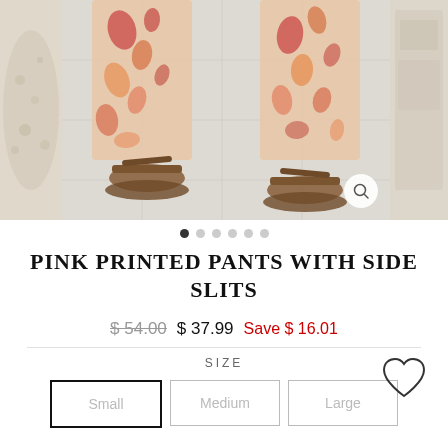[Figure (photo): Product photo showing person wearing pink printed paisley pants with side slits and brown sandals on a light grey tile floor. Three images shown side by side — left partial view of a decorative pillow, center main image of legs/feet, right partial view.]
PINK PRINTED PANTS WITH SIDE SLITS
$ 54.00  $ 37.99  Save $ 16.01
SIZE
Small  Medium  Large